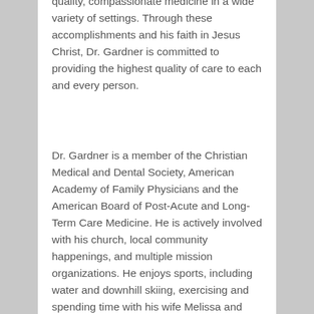Christian program focused on offering high-quality, compassionate medicine in a wide variety of settings. Through these accomplishments and his faith in Jesus Christ, Dr. Gardner is committed to providing the highest quality of care to each and every person.
Dr. Gardner is a member of the Christian Medical and Dental Society, American Academy of Family Physicians and the American Board of Post-Acute and Long-Term Care Medicine. He is actively involved with his church, local community happenings, and multiple mission organizations. He enjoys sports, including water and downhill skiing, exercising and spending time with his wife Melissa and their six children.